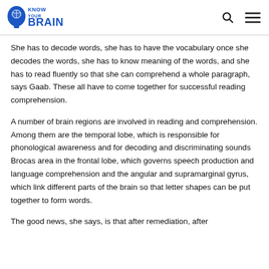Know Your Brain
She has to decode words, she has to have the vocabulary once she decodes the words, she has to know meaning of the words, and she has to read fluently so that she can comprehend a whole paragraph, says Gaab. These all have to come together for successful reading comprehension.
A number of brain regions are involved in reading and comprehension. Among them are the temporal lobe, which is responsible for phonological awareness and for decoding and discriminating sounds Brocas area in the frontal lobe, which governs speech production and language comprehension and the angular and supramarginal gyrus, which link different parts of the brain so that letter shapes can be put together to form words.
The good news, she says, is that after remediation, after